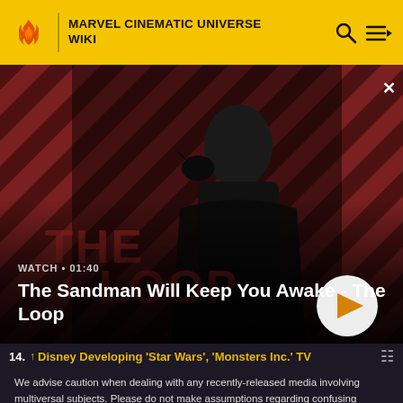MARVEL CINEMATIC UNIVERSE WIKI
[Figure (screenshot): Video banner showing a dark-cloaked figure with a raven on shoulder against a red diagonal-striped background. Text overlay: WATCH • 01:40. Title: The Sandman Will Keep You Awake - The Loop. Play button on right.]
14. ↑ Disney Developing 'Star Wars', 'Monsters Inc.' TV
We advise caution when dealing with any recently-released media involving multiversal subjects. Please do not make assumptions regarding confusing wording, other sites' speculation, and people's headcanon around the internet.